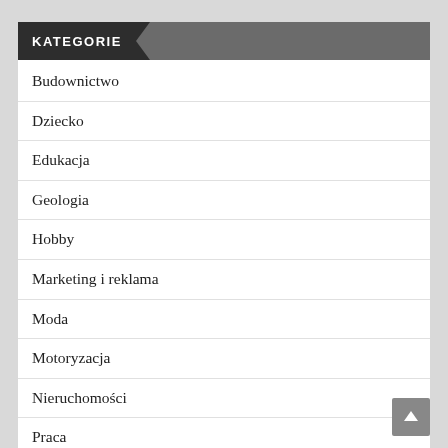KATEGORIE
Budownictwo
Dziecko
Edukacja
Geologia
Hobby
Marketing i reklama
Moda
Motoryzacja
Nieruchomości
Praca
Prawo